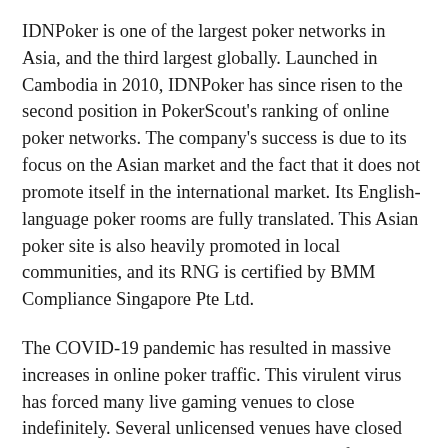IDNPoker is one of the largest poker networks in Asia, and the third largest globally. Launched in Cambodia in 2010, IDNPoker has since risen to the second position in PokerScout's ranking of online poker networks. The company's success is due to its focus on the Asian market and the fact that it does not promote itself in the international market. Its English-language poker rooms are fully translated. This Asian poker site is also heavily promoted in local communities, and its RNG is certified by BMM Compliance Singapore Pte Ltd.
The COVID-19 pandemic has resulted in massive increases in online poker traffic. This virulent virus has forced many live gaming venues to close indefinitely. Several unlicensed venues have closed down, leaving players with limited options for live entertainment. In the resulting void, more casual players are turning to online poker as an alternative. Many operators reported double-digit growth in traffic after the virus had taken hold. However, this is not enough to attract a large Asian market to Western poker sites.